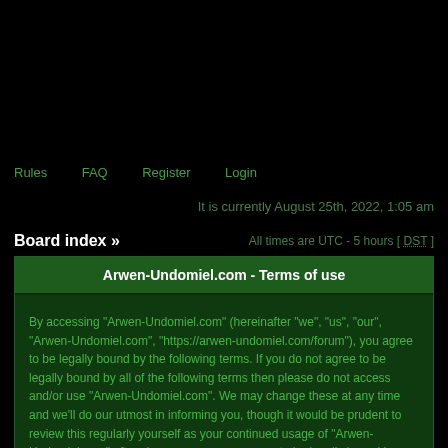Rules   FAQ   Register   Login
It is currently August 25th, 2022, 1:05 am
Board index »
All times are UTC - 5 hours [ DST ]
Arwen-Undomiel.com - Terms of use
By accessing "Arwen-Undomiel.com" (hereinafter "we", "us", "our", "Arwen-Undomiel.com", "https://arwen-undomiel.com/forum"), you agree to be legally bound by the following terms. If you do not agree to be legally bound by all of the following terms then please do not access and/or use "Arwen-Undomiel.com". We may change these at any time and we'll do our utmost in informing you, though it would be prudent to review this regularly yourself as your continued usage of "Arwen-Undomiel.com" after changes mean you agree to be legally bound by these terms as they are updated and/or amended.
Our forums are powered by phpBB (hereinafter "they", "them", "their", "phpBB software", "www.phpbb.com", "phpBB Group", "phpBB Teams") which is a bulletin board solution released under